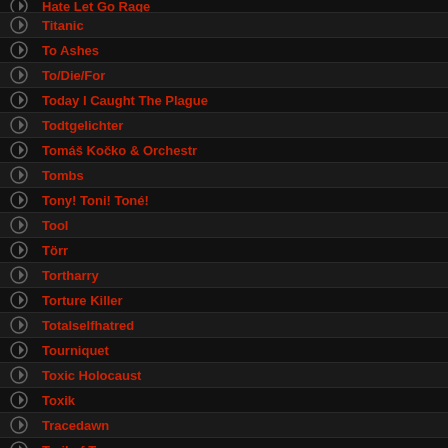Hate Let Go Rage
Titanic
To Ashes
To/Die/For
Today I Caught The Plague
Todtgelichter
Tomáš Kočko & Orchestr
Tombs
Tony! Toni! Toné!
Tool
Törr
Tortharry
Torture Killer
Totalselfhatred
Tourniquet
Toxic Holocaust
Toxik
Tracedawn
Trail of Tears
Trancelike Void